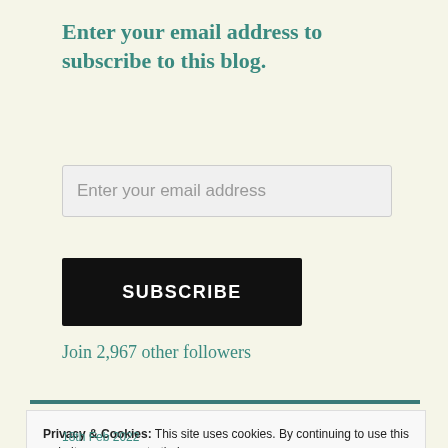Enter your email address to subscribe to this blog.
Enter your email address
SUBSCRIBE
Join 2,967 other followers
Privacy & Cookies: This site uses cookies. By continuing to use this website, you agree to their use.
To find out more, including how to control cookies, see here:
Cookie Policy
Close and accept
18th Feb 2022